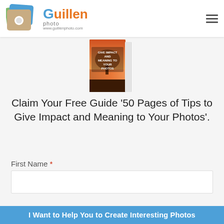Guillen photo www.guillenphoto.com
[Figure (photo): Book cover showing 'Give Impact and Meaning to Your Photos' with a tree image]
Claim Your Free Guide '50 Pages of Tips to Give Impact and Meaning to Your Photos'.
First Name *
Your Name *
Your Email
I Want to Help You to Create Interesting Photos